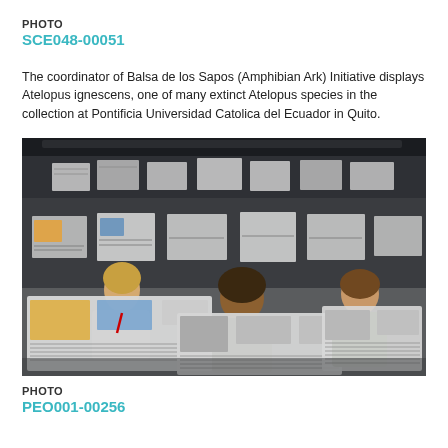PHOTO
SCE048-00051
The coordinator of Balsa de los Sapos (Amphibian Ark) Initiative displays Atelopus ignescens, one of many extinct Atelopus species in the collection at Pontificia Universidad Catolica del Ecuador in Quito.
[Figure (photo): A lecture hall filled with students all reading large-format newspapers, viewed from the back of the room.]
PHOTO
PEO001-00256